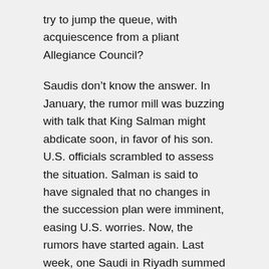try to jump the queue, with acquiescence from a pliant Allegiance Council?
Saudis don't know the answer. In January, the rumor mill was buzzing with talk that King Salman might abdicate soon, in favor of his son. U.S. officials scrambled to assess the situation. Salman is said to have signaled that no changes in the succession plan were imminent, easing U.S. worries. Now, the rumors have started again. Last week, one Saudi in Riyadh summed things up this way: “There is high tension, and nerves are on edge.”
To appreciate the reformers’ challenge, it helps to have a clear mental picture of Saudi Arabia. This isn’t a tiny emirate like Kuwait, Bahrain or the UAE. It’s a vast sandy expanse, three times the size of Texas. Saudi citizens number more than 20 million, just a few million less than